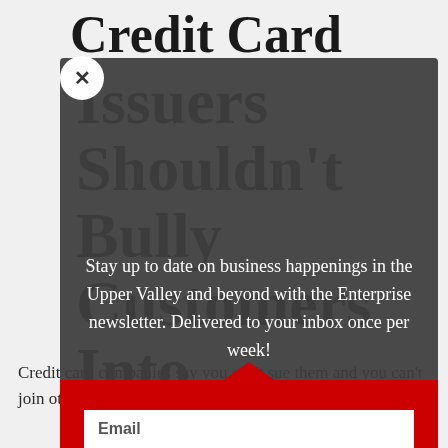Credit Card Issuers Shouldn't Bully Customers Into Arbitration Clauses
Stay up to date on business happenings in the Upper Valley and beyond with the Enterprise newsletter. Delivered to your inbox once per week!
Credit card companies say you can't sue them and you can't join other customers in suing them, and if you don't like it,
Email